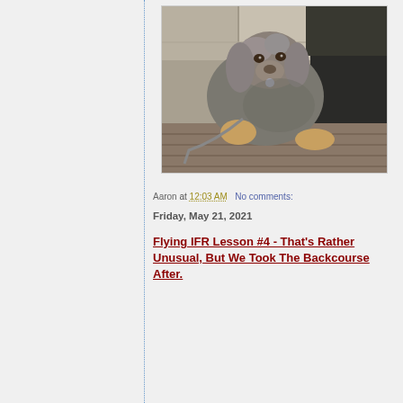[Figure (photo): A gray and tan curly-haired dog (likely a poodle mix) lying on a wooden deck surface, with a leash visible, looking at the camera. Sidewalk and dark mat visible in the background.]
Aaron at 12:03 AM   No comments:
Friday, May 21, 2021
Flying IFR Lesson #4 - That's Rather Unusual, But We Took The Backcourse After.